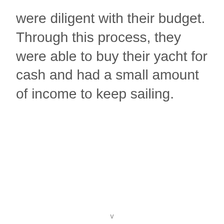were diligent with their budget. Through this process, they were able to buy their yacht for cash and had a small amount of income to keep sailing.
v